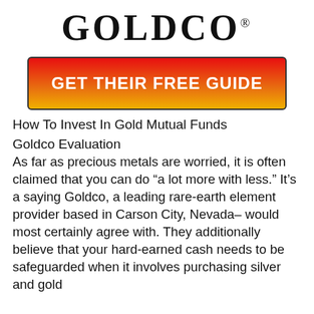[Figure (logo): Goldco logo in large serif bold font with registered trademark symbol]
[Figure (infographic): Red-to-gold gradient button with text GET THEIR FREE GUIDE in bold white capital letters]
How To Invest In Gold Mutual Funds
Goldco Evaluation
As far as precious metals are worried, it is often claimed that you can do “a lot more with less.” It’s a saying Goldco, a leading rare-earth element provider based in Carson City, Nevada– would most certainly agree with. They additionally believe that your hard-earned cash needs to be safeguarded when it involves purchasing silver and gold